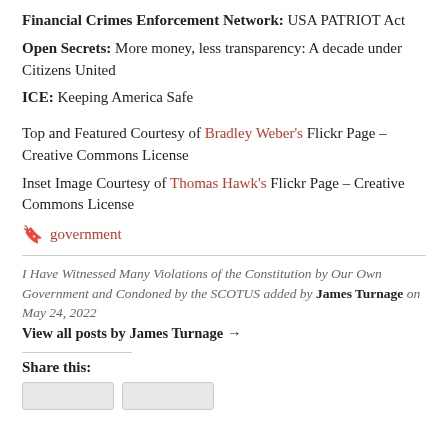Financial Crimes Enforcement Network: USA PATRIOT Act
Open Secrets: More money, less transparency: A decade under Citizens United
ICE: Keeping America Safe
Top and Featured Courtesy of Bradley Weber's Flickr Page – Creative Commons License
Inset Image Courtesy of Thomas Hawk's Flickr Page – Creative Commons License
government (tag)
I Have Witnessed Many Violations of the Constitution by Our Own Government and Condoned by the SCOTUS added by James Turnage on May 24, 2022
View all posts by James Turnage →
Share this: